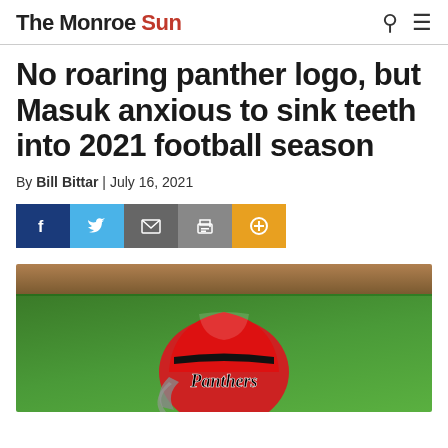The Monroe Sun
No roaring panther logo, but Masuk anxious to sink teeth into 2021 football season
By Bill Bittar | July 16, 2021
[Figure (infographic): Social share buttons: Facebook (blue), Twitter (light blue), Email (gray), Print (gray), Plus/AddThis (orange)]
[Figure (photo): Red football helmet sitting on grass field with dirt visible at top, with 'Panthers' text on the helmet]